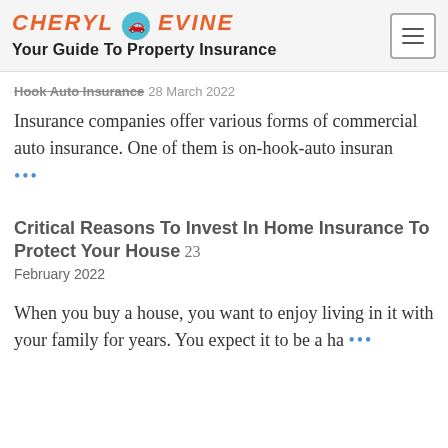CHERYL EVINE — Your Guide To Property Insurance
Hook Auto Insurance 28 March 2022
Insurance companies offer various forms of commercial auto insurance. One of them is on-hook-auto insuran ...
Critical Reasons To Invest In Home Insurance To Protect Your House 23 February 2022
When you buy a house, you want to enjoy living in it with your family for years. You expect it to be a ha ...